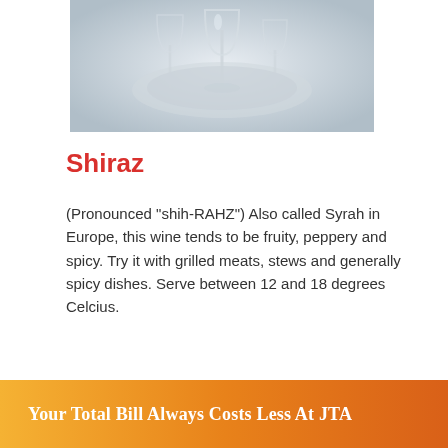[Figure (photo): Photograph of wine glasses on a table, blurred background, light and glassy tones]
Shiraz
(Pronounced "shih-RAHZ") Also called Syrah in Europe, this wine tends to be fruity, peppery and spicy. Try it with grilled meats, stews and generally spicy dishes. Serve between 12 and 18 degrees Celcius.
[Figure (screenshot): Facebook Share button with count 0, and Twitter Tweet button with count 0]
Your Total Bill Always Costs Less At JTA